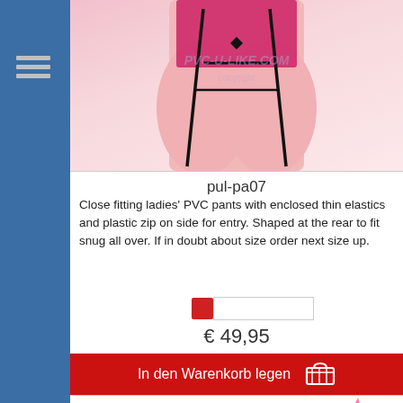[Figure (photo): Product photo of close fitting ladies PVC pants, showing lower torso and thighs with black straps and pink/black PVC garment. Watermark pvc-u-like.com visible.]
pul-pa07
Close fitting ladies' PVC pants with enclosed thin elastics and plastic zip on side for entry. Shaped at the rear to fit snug all over. If in doubt about size order next size up.
€ 49,95
In den Warenkorb legen
PVC-U-Like
[Figure (logo): pvc-u-like logo with pink starburst and lock icon]
[Figure (photo): Bottom product photo partially visible showing legs in PVC/latex garment]
Wir verwenden Cookies, um die Nutzung dieser Website zu verbessern und Präferenzen zu verfolgen.
ich verstehe
Weitere Informationen